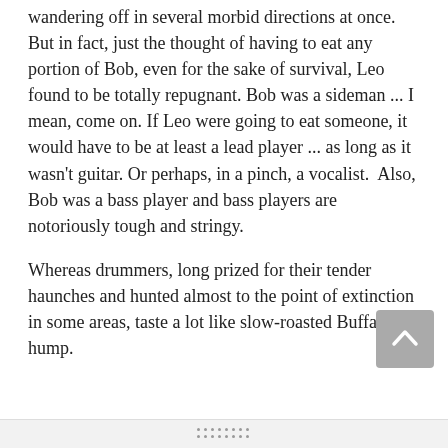wandering off in several morbid directions at once. But in fact, just the thought of having to eat any portion of Bob, even for the sake of survival, Leo found to be totally repugnant. Bob was a sideman ... I mean, come on. If Leo were going to eat someone, it would have to be at least a lead player ... as long as it wasn't guitar. Or perhaps, in a pinch, a vocalist.  Also, Bob was a bass player and bass players are notoriously tough and stringy.
Whereas drummers, long prized for their tender haunches and hunted almost to the point of extinction in some areas, taste a lot like slow-roasted Buffalo hump.